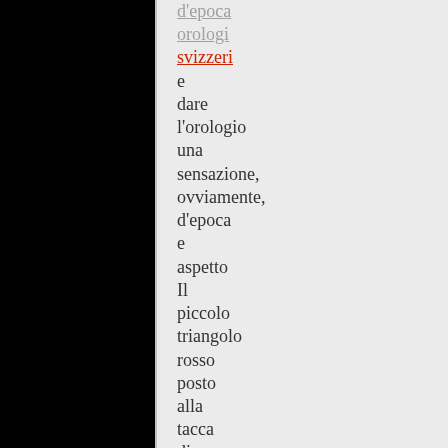d'epoca orologi svizzeri e dare l'orologio una sensazione, ovviamente, d'epoca e aspetto Il piccolo triangolo rosso posto alla tacca di zero sull'inserto lunetta aggiunge un tocco di